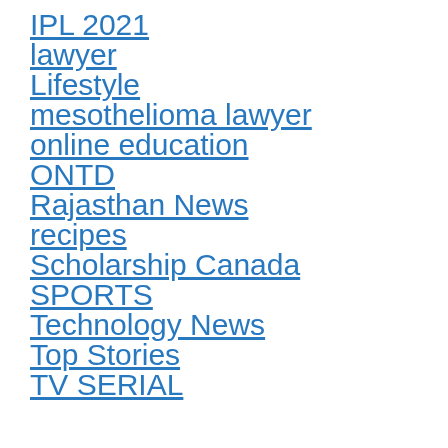IPL 2021
lawyer
Lifestyle
mesothelioma lawyer
online education
ONTD
Rajasthan News
recipes
Scholarship Canada
SPORTS
Technology News
Top Stories
TV SERIAL